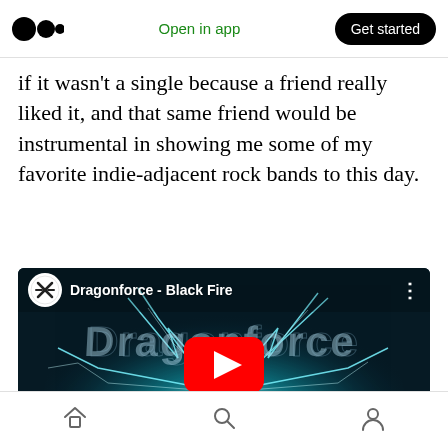Medium app header with logo, Open in app, Get started
if it wasn't a single because a friend really liked it, and that same friend would be instrumental in showing me some of my favorite indie-adjacent rock bands to this day.
[Figure (screenshot): YouTube video thumbnail for Dragonforce - Black Fire, showing the Dragonforce logo with teal lightning effects and a YouTube play button in the center.]
Mobile app bottom navigation with home, search, and profile icons